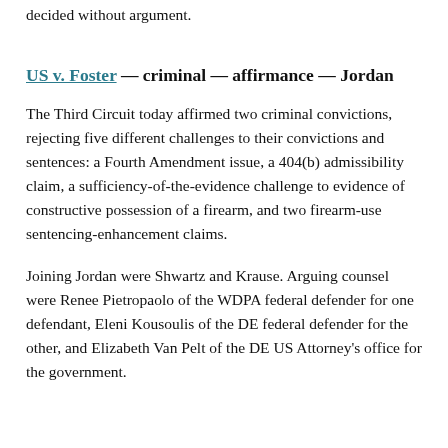decided without argument.
US v. Foster — criminal — affirmance — Jordan
The Third Circuit today affirmed two criminal convictions, rejecting five different challenges to their convictions and sentences: a Fourth Amendment issue, a 404(b) admissibility claim, a sufficiency-of-the-evidence challenge to evidence of constructive possession of a firearm, and two firearm-use sentencing-enhancement claims.
Joining Jordan were Shwartz and Krause. Arguing counsel were Renee Pietropaolo of the WDPA federal defender for one defendant, Eleni Kousoulis of the DE federal defender for the other, and Elizabeth Van Pelt of the DE US Attorney's office for the government.